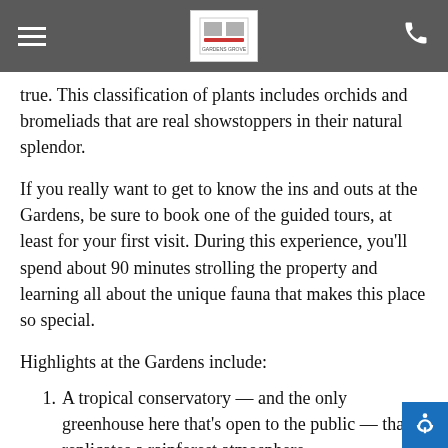[Navigation header with hamburger menu, logo, and phone icon]
true. This classification of plants includes orchids and bromeliads that are real showstoppers in their natural splendor.
If you really want to get to know the ins and outs at the Gardens, be sure to book one of the guided tours, at least for your first visit. During this experience, you'll spend about 90 minutes strolling the property and learning all about the unique fauna that makes this place so special.
Highlights at the Gardens include:
A tropical conservatory — and the only greenhouse here that's open to the public — that replicates a rainforest atmosphere.
A bamboo garden that includes both tropical and sub-tropical species.